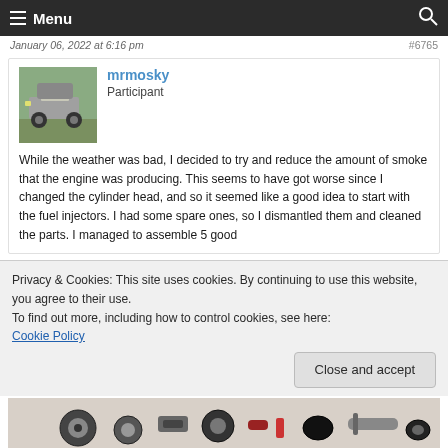≡ Menu  🔍
January 06, 2022 at 6:16 pm  #6765
mrmosky
Participant
While the weather was bad, I decided to try and reduce the amount of smoke that the engine was producing. This seems to have got worse since I changed the cylinder head, and so it seemed like a good idea to start with the fuel injectors. I had some spare ones, so I dismantled them and cleaned the parts. I managed to assemble 5 good
Privacy & Cookies: This site uses cookies. By continuing to use this website, you agree to their use.
To find out more, including how to control cookies, see here:
Cookie Policy
[Close and accept]
[Figure (photo): Bottom strip showing disassembled mechanical parts such as bearings, seals, and rubber components on a light surface, partially visible.]